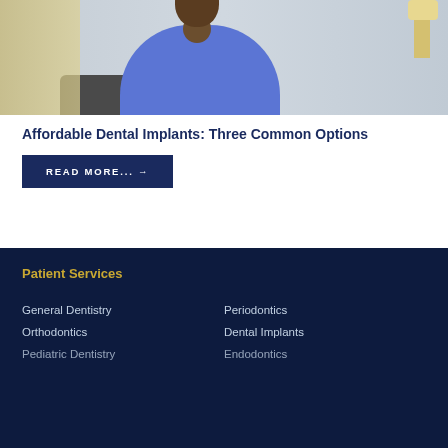[Figure (photo): A person wearing a blue cable-knit sweater, sitting in a room with a lamp and neutral wall in the background.]
Affordable Dental Implants: Three Common Options
READ MORE... →
Patient Services
General Dentistry
Orthodontics
Pediatric Dentistry
Periodontics
Dental Implants
Endodontics